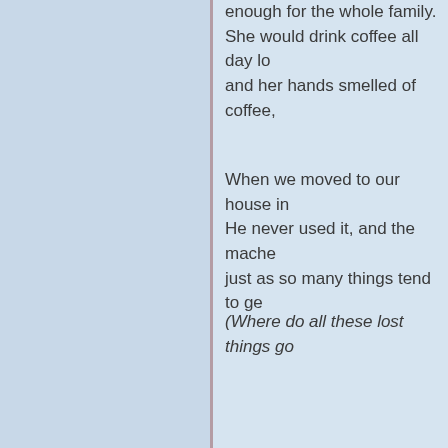enough for the whole family. She would drink coffee all day lo... and her hands smelled of coffee,
When we moved to our house in... He never used it, and the mache... just as so many things tend to ge...
(Where do all these lost things go...
(2)
Before coming to the Mayo Clinic... In my hotel room in Rochester, I... I would return and practice for the...
Very few people knew I was at th... Enric is an explorer with National... Enric encouraged me to put my h... I don't know if I would have the s...